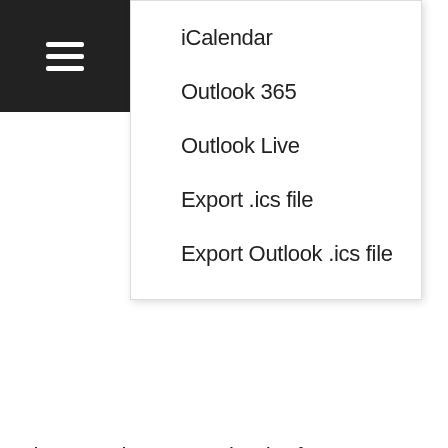iCalendar
Outlook 365
Outlook Live
Export .ics file
Export Outlook .ics file
The Synod Events calendar features events taking place on a synodical level.
To view events taking place throughout all of WELS visit the WELS Community Events Calendar.
By accepting this message, you consent to our cookies on this device in accordance with our cookie policy found in the WELS Privacy Policy, unless you have disabled them.
I AGREE